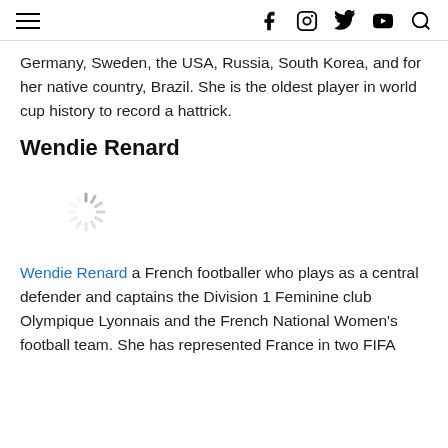≡  f  [instagram]  [twitter]  [youtube]  [search]
Germany, Sweden, the USA, Russia, South Korea, and for her native country, Brazil. She is the oldest player in world cup history to record a hattrick.
Wendie Renard
[Figure (other): Loading spinner / image placeholder]
Wendie Renard a French footballer who plays as a central defender and captains the Division 1 Feminine club Olympique Lyonnais and the French National Women's football team. She has represented France in two FIFA